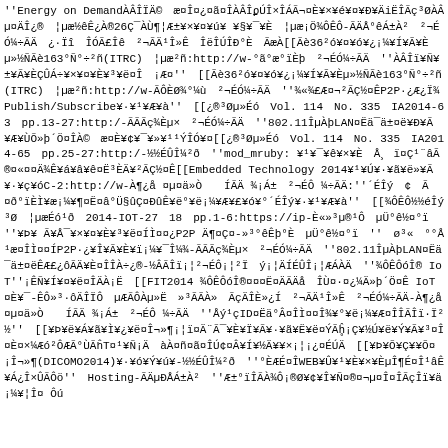''Energy on DemandÀÂÎÏÄ©¸ æ¤Î¤¿¤ã¤ÎÀÂÎϼÚÎ×ÎÁÃ¬¤È¥×¥é¥¤¥Ð¥ÄiËÎÃç³ØÀÂµ¤ÄÎ¿®¸ ¦µæ½êÊ¿À®26Ç¯ÀÙ¶¦Æ±¥×¥¤¥ú¥ ¥§¥¯¥È¸ ¦µæ¡Ö¾ÔÊÔ-ÃÄÅ°êÁ±À²¸ ²¬ÉÓ¼÷ÃÄ¸ ¿·Ïî¸ ÎÓÃ£Îê¸ ²¬ÃÄ¹Î»Ê¸ ÎëÎÚÎÐ°È¸ ÃæÀ[[Ãè36²ó¥¤¥ó¥¿¡¼¥Í¥Ã¥Èµ»½ÑÃè163°Ñ°÷²ñ(ITRC)¸ ¦µæ²ñ:http://w-°ã°æ°ïÈþ¸ ²¬ÉÓ¼÷ÃÄ¸ ''ÀÂÎï¥Ñ¥±¥Ã¥ÈÇÛÁ÷¥×¥¤¥È¥³¥ë¤Î¸ ¡Æ¤''¸[[Ãè36²ó¥¤¥ó¥¿¡¼¥Í¥Ã¥Èµ»½ÑÃè163°Ñ°÷²ñ(ITRC)¸ ¦µæ²ñ:http://w-ÃÔÈØ¾°¼ù¸ ²¬ÉÓ¼÷ÃÄ¸''¾«¾£Æ¤¬²ÃÇ½¤ÊP2P·¿Æ¿Ï¾Publish/Subscribe¥·¥¹¥Æ¥à''¸[[¿®³Øµ»Éó¸ Vol. 114¸ No. 335¸ IA2014-63¸ pp.13-27:http:/-ÃÃÃç¾Èµ×¸ ²¬ÉÓ¼÷ÃÄ¸''802.11ÎµÀþLAN¤Ëä¯ä±¤ë¥Ð¥Ã¥Æ¥ÙÕ»þ´Ö¤ÎÀ©¸ æ¤È¥¢¥¯¥»¥¹¹ÝÎÓ¥¤[[¿®³Øµ»Éó¸ Vol. 114¸ No. 335¸ IA2014-65¸ pp.25-27:http:/-½½ÉÛÎ¼²ð¸''mod_mruby: ¥¹¥¯¥ê¥×¥È¸ Å¸ ï¤Ç¹¨âÃ®¤«¤¤Ä¾Ê¥á¥â¥ê¤Ë³ÈÄ¥²ÃÇ½¤Ê[[Embedded Technology 2014¥¹¥Ú¥·¥ã¥ë»¥Ã¥·¥ç¥óC-2:http://w-À¶¿å ¤µ¤ä»Ò¸  ÍÃÄ ¾¡Á±¸ ²¬ÉÔ ¼÷ÃÄ:''´ÉÎý¸ ¢¸ Ã¤ð°ïÈÌ¥æ¡¼¥¶¤Ë¤â°Ü§ûÇ¤ÐûÊ¥ë°¥ë¡¼¥Æ¥£¥ó¥°´ÉÎý¥·¥¹¥Æ¥à''¸[[¾ÔÊÔ½½éÎý³Ø¸ ¦µæÉó¹ð¸ 2014-IOT-27¸ 18¸ pp.1-6:https://ip-È«»³µ®¹Ô¸ µÜ°ê½¤°ï¸ ''¥Þ¥ Ã¥Å¯¥×¥¤¥È¥³¥ë¤ÍÌ¤¤¿P2P Ä¶¤Ç¤-»³°êÊþ°È¸ µÜ°ê½¤°ï¸ ''¸ ø³«¸ °°Å¹æ¤ÎÌ¤¤ÍP2P·¿¥Î¥Ã¥È¥ï¡¼¥¯Î¼¾-ÃÃÃç¾Èµ×¸ ²¬ÉÓ¼÷ÃÄ¸ ''802.11ÎµÀþLAN¤Ëä¯ä±¤ëÊÆ£¿ôÃÄ¥È¤ÎÎÀ÷¿®-½ÂÃÎï¡¦²¬ÉÔ¡¦²Ï¸ ý¡¦ÄÍÉÛÎ¡¦ÆÁÀÄ¸''¾ÔÊÔóÎ® IoT''¡ÊÑ¥Í¥¤¥ë¤ÎÄÀ¡Ë¸[[FIT2014 ¾ÔÊÔóÎ®¤¤¤Ë¤ÄÃÄå¸ÎÙ¤·¤¿¼Ä»þ´Ö¤Ê IoT¤È¥¯-ÊÔ»³·ôÄÎÏÔ¸ µÆÃÔÀµ»Ë¸ »³ÃÃÀ»¸ ÃçÄÎÈ»¿Í¸ ²¬ÃÄ¹Î»Ê¸ ²¬ÉÓ¼÷ÃÄ-À¶¿å ¤µ¤ä»Ò¸  ÍÃÄ ¾¡Á±¸ ²¬ÉÔ ¼÷ÃÄ¸''Åý¹çID¤Ëä°Â¤ÎÌ¤¤Î¾¥°¥ë¡¼¥Æ¤ÎÎÃÎï·Ï²½''¸[[¥Þ¥ë¥Á¥ã¥Ì¥¿¥ë¤Î¬»¶¡¦ï¤Ä¨Ã¯¥È¥Ï¥Ã¥·¥ã¥Ë¥ë¤ÝÃĥ̥¡Ç¥½Ú¥ë¥Ý¥Ã¥³¤Î¤È¤­×¼Æó²ÔÆÃ°ÙÃĥΤ¤¹¥Ñ¡Ä¸ àÀ¤ñ¤ã¤ÎÚ¢¤Â¥Í¥½Ä¥¥×¡¦¡¿¤ÉÚÄ¸[[¥Þ¥Õ¥Ç¥¥Õ¤¡Î¬»¶(DICOMO2014)¥·¥ó¥Ý¥ú¥-½½ÉÛÎ¼²ð¸ ''°ÈÆÉ¤ÎWEB¥Û¥¹¥È¥×¥ÈµÎ¶É¤Î¹âÊ¥Á¿Î×ÛÃÔö''¸ Hosting-ÃÄµÐÅÁ±À²¸ ''Æ±°ïÎÃÀ¾Ô¡®Ø¥¢¥Î¥Ñ¤®¤¬µ¤Î¤ÎÃçÎï¥ä¡¼¥¦Î¤ Ôú